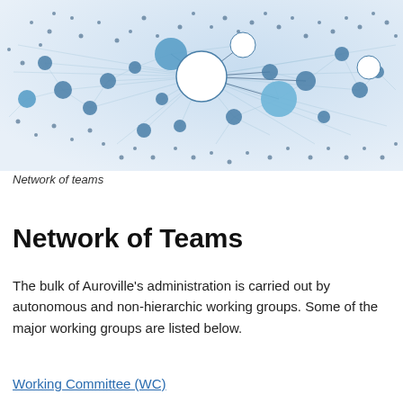[Figure (network-graph): A network graph visualization showing interconnected nodes of varying sizes, representing a network of teams. Nodes are colored in shades of blue and white, connected by thin lines forming a complex web structure.]
Network of teams
Network of Teams
The bulk of Auroville's administration is carried out by autonomous and non-hierarchic working groups. Some of the major working groups are listed below.
Working Committee (WC)